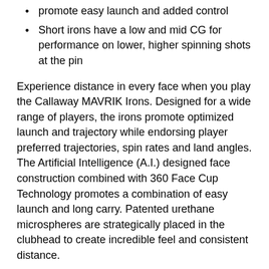promote easy launch and added control
Short irons have a low and mid CG for performance on lower, higher spinning shots at the pin
Experience distance in every face when you play the Callaway MAVRIK Irons. Designed for a wide range of players, the irons promote optimized launch and trajectory while endorsing player preferred trajectories, spin rates and land angles. The Artificial Intelligence (A.I.) designed face construction combined with 360 Face Cup Technology promotes a combination of easy launch and long carry. Patented urethane microspheres are strategically placed in the clubhead to create incredible feel and consistent distance.
DESIGN DETAILS:
Designed for a wide range of players looking to optimize launch and trajectory while promoting ideal trajectories, spin rates and land angles
Remarkable new technologies allows for smarter and